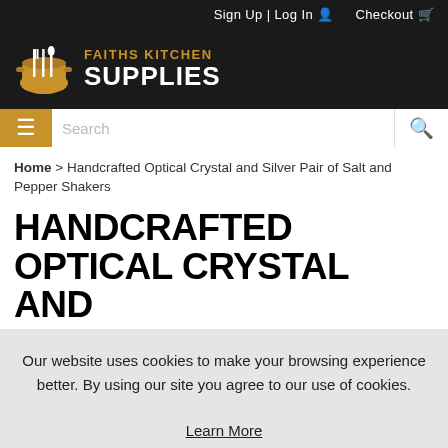Sign Up | Log In  Checkout
[Figure (logo): Faiths Kitchen Supplies logo with pot and utensils icon in orange/brown, white text reading FAITHS KITCHEN SUPPLIES]
Search
Home > Handcrafted Optical Crystal and Silver Pair of Salt and Pepper Shakers
HANDCRAFTED OPTICAL CRYSTAL AND
Our website uses cookies to make your browsing experience better. By using our site you agree to our use of cookies.
Learn More
I Agree